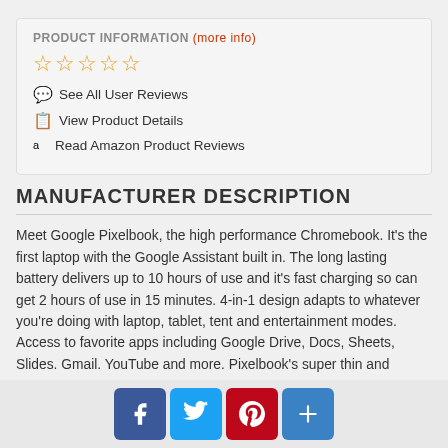PRODUCT INFORMATION (more info)
[Figure (other): Five empty star rating icons in gold/orange outline]
See All User Reviews
View Product Details
Read Amazon Product Reviews
MANUFACTURER DESCRIPTION
Meet Google Pixelbook, the high performance Chromebook. It's the first laptop with the Google Assistant built in. The long lasting battery delivers up to 10 hours of use and it's fast charging so can get 2 hours of use in 15 minutes. 4-in-1 design adapts to whatever you're doing with laptop, tablet, tent and entertainment modes. Access to favorite apps including Google Drive, Docs, Sheets, Slides. Gmail. YouTube and more. Pixelbook's super thin and
[Figure (other): Social sharing buttons: Facebook, Twitter, Pinterest, and a plus/share button]